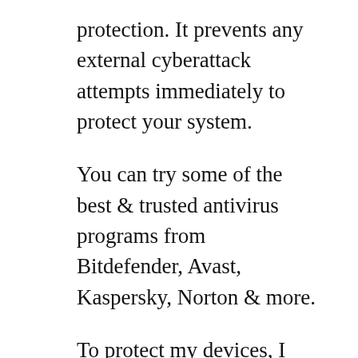protection. It prevents any external cyberattack attempts immediately to protect your system.
You can try some of the best & trusted antivirus programs from Bitdefender, Avast, Kaspersky, Norton & more.
To protect my devices, I use the Bitdefender Total Security program. It is a full-fledged cybersecurity suite that ensures 360-degree protection. Some of the most important features include multiple device protection, elaborate parental control features, a cloud-based engine, a privacy firewall, a password manager & more. Are you planning to buy a